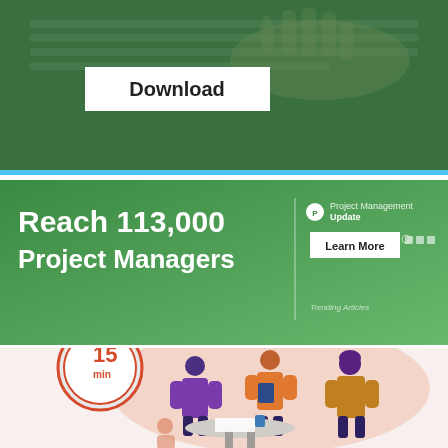[Figure (screenshot): Top banner showing hands on a laptop keyboard with a green overlay and a white 'Download' button]
[Figure (infographic): Green advertisement banner reading 'Reach 113,000 Project Managers' with a vertical divider and right side showing 'Project Management Update' logo with a 'Learn More' button and 'Trending Articles' label]
[Figure (illustration): Illustration showing three cartoon figures in a meeting around a table with a 15-minute timer clock icon in the background]